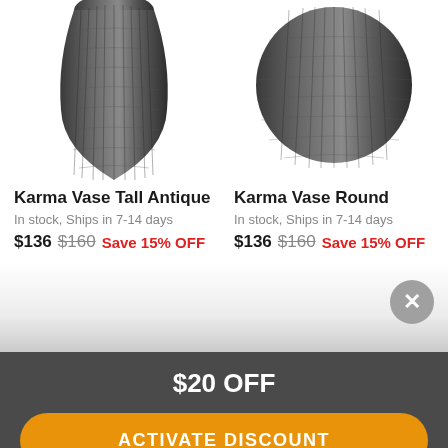[Figure (photo): Karma Vase Tall Antique — dark ribbed/textured ceramic vase with organic bulbous shape, shown cropped from top, dark gray/charcoal color]
[Figure (photo): Karma Vase Round — dark ribbed/textured ceramic vase with round spherical shape, shown cropped from top, dark gray/charcoal color]
Karma Vase Tall Antique
In stock, Ships in 7-14 days
$136 $160 Save 15% OFF
Karma Vase Round
In stock, Ships in 7-14 days
$136 $160 Save 15% OFF
$20 OFF
ACTIVATE DISCOUNT